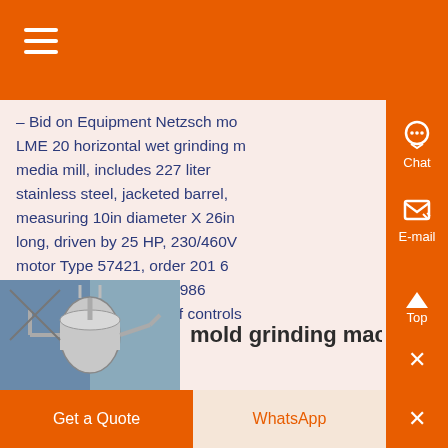Navigation menu header bar (orange)
- Bid on Equipment Netzsch model LME 20 horizontal wet grinding media mill, includes 227 liter stainless steel, jacketed barrel, measuring 10in diameter X 26in long, driven by 25 HP, 230/460V motor Type 57421, order 201 6 serial 204 156, new in 1986 Includes explosion proof controls
[Figure (photo): Industrial grinding/milling equipment, machinery with pipes and tanks]
mold grinding machi...
Get a Quote | WhatsApp